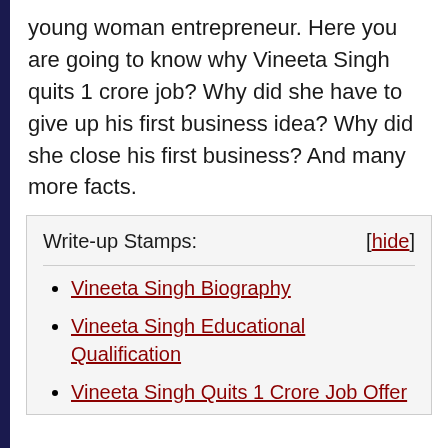young woman entrepreneur. Here you are going to know why Vineeta Singh quits 1 crore job? Why did she have to give up his first business idea? Why did she close his first business? And many more facts.
Write-up Stamps: [hide]
Vineeta Singh Biography
Vineeta Singh Educational Qualification
Vineeta Singh Quits 1 Crore Job Offer